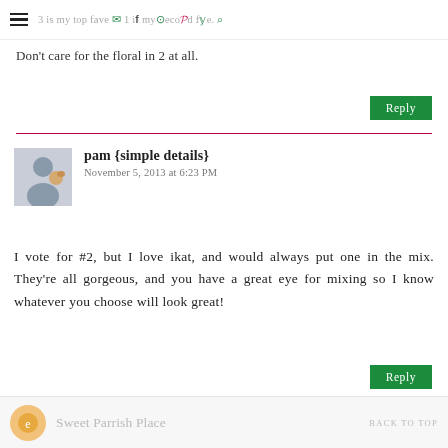3 is my top fave | if my second fave. [icons: email, facebook, instagram, pinterest, twitter, search]
Don't care for the floral in 2 at all.
Reply
pam {simple details}
November 5, 2013 at 6:23 PM
I vote for #2, but I love ikat, and would always put one in the mix. They're all gorgeous, and you have a great eye for mixing so I know whatever you choose will look great!
Reply
Sweet Parrish Place  BACK TO TOP